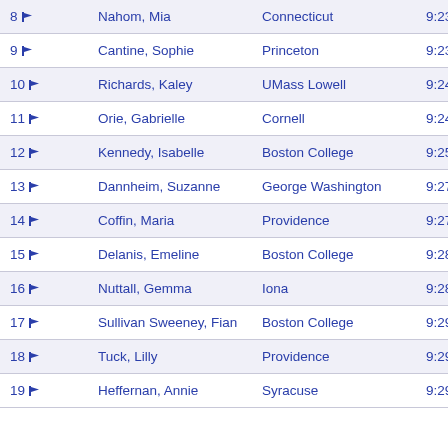| Place | Name | School | Time |
| --- | --- | --- | --- |
| 8 | Nahom, Mia | Connecticut | 9:23.62 |
| 9 | Cantine, Sophie | Princeton | 9:23.93 |
| 10 | Richards, Kaley | UMass Lowell | 9:24.16 |
| 11 | Orie, Gabrielle | Cornell | 9:24.79 |
| 12 | Kennedy, Isabelle | Boston College | 9:25.15 |
| 13 | Dannheim, Suzanne | George Washington | 9:27.34 # |
| 14 | Coffin, Maria | Providence | 9:27.80 |
| 15 | Delanis, Emeline | Boston College | 9:28.17 |
| 16 | Nuttall, Gemma | Iona | 9:28.56 |
| 17 | Sullivan Sweeney, Fian | Boston College | 9:29.79 |
| 18 | Tuck, Lilly | Providence | 9:29.84 |
| 19 | Heffernan, Annie | Syracuse | 9:29.92 |